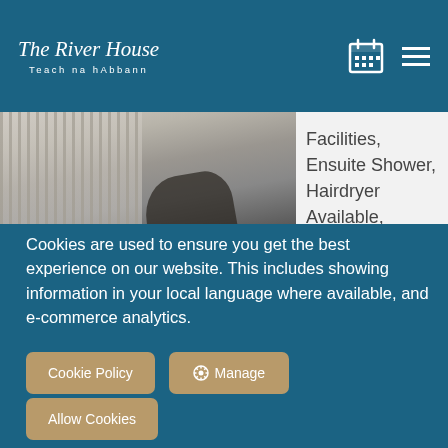The River House — Teach na hAbbann
[Figure (photo): Photo of a room interior showing a radiator/heater and dark object, partially visible]
Facilities, Ensuite Shower, Hairdryer Available,
Cookies are used to ensure you get the best experience on our website. This includes showing information in your local language where available, and e-commerce analytics.
Cookie Policy
Manage
Allow Cookies